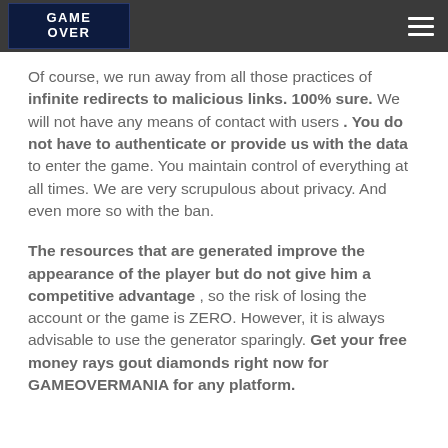GAME OVER (logo)
Of course, we run away from all those practices of infinite redirects to malicious links. 100% sure. We will not have any means of contact with users . You do not have to authenticate or provide us with the data to enter the game. You maintain control of everything at all times. We are very scrupulous about privacy. And even more so with the ban.
The resources that are generated improve the appearance of the player but do not give him a competitive advantage , so the risk of losing the account or the game is ZERO. However, it is always advisable to use the generator sparingly. Get your free money rays gout diamonds right now for GAMEOVERMANIA for any platform.